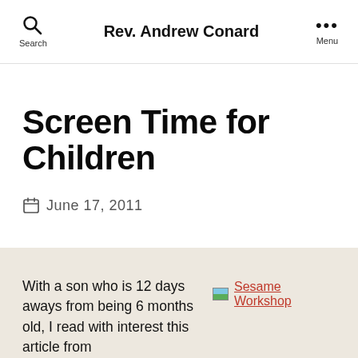Rev. Andrew Conard
Screen Time for Children
June 17, 2011
With a son who is 12 days aways from being 6 months old, I read with interest this article from
[Figure (screenshot): Broken image placeholder with link labeled 'Sesame Workshop']